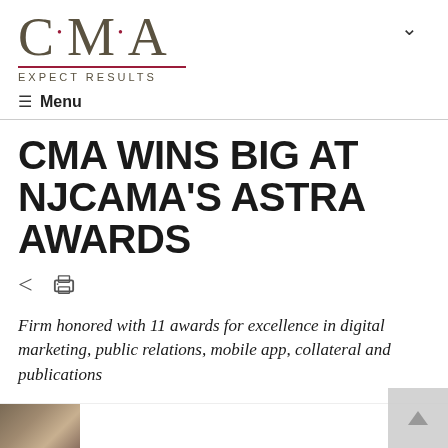[Figure (logo): CMA logo with red dots between letters, red underline, and tagline EXPECT RESULTS]
≡ Menu
CMA WINS BIG AT NJCAMA'S ASTRA AWARDS
Firm honored with 11 awards for excellence in digital marketing, public relations, mobile app, collateral and publications
[Figure (photo): Partial thumbnail image at bottom left]